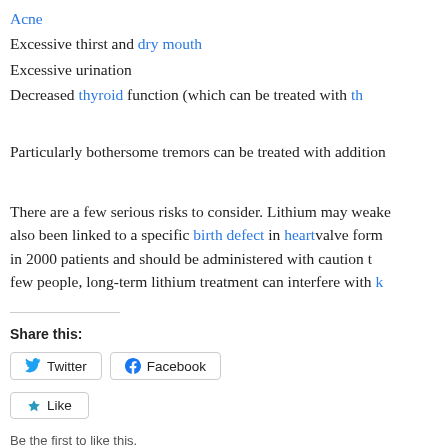Acne
Excessive thirst and dry mouth
Excessive urination
Decreased thyroid function (which can be treated with th...
Particularly bothersome tremors can be treated with addition...
There are a few serious risks to consider. Lithium may weake... also been linked to a specific birth defect in heart valve form... in 2000 patients and should be administered with caution t... few people, long-term lithium treatment can interfere with k...
Share this:
Twitter
Facebook
Like
Be the first to like this.